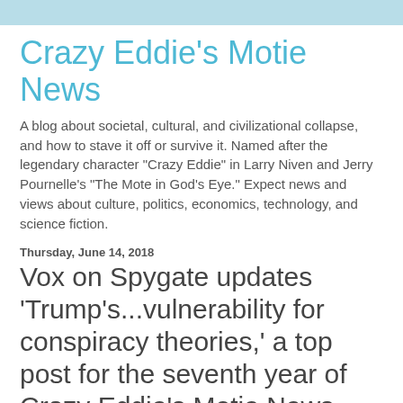Crazy Eddie's Motie News
A blog about societal, cultural, and civilizational collapse, and how to stave it off or survive it. Named after the legendary character "Crazy Eddie" in Larry Niven and Jerry Pournelle's "The Mote in God's Eye." Expect news and views about culture, politics, economics, technology, and science fiction.
Thursday, June 14, 2018
Vox on Spygate updates 'Trump's...vulnerability for conspiracy theories,' a top post for the seventh year of Crazy Eddie's Motie News
[Figure (screenshot): Screenshot of CNN website showing navigation bar with CNN logo, Home link, Live TV button, and hamburger menu, followed by article headline starting with 'President floats']